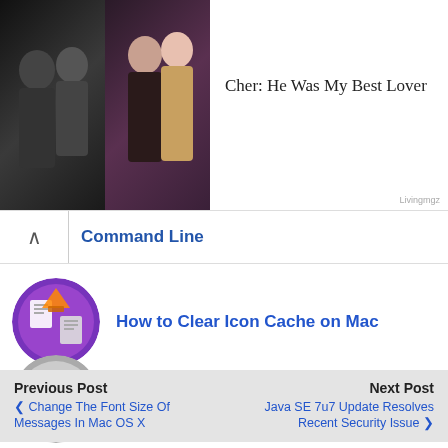[Figure (photo): Two celebrity photos side by side: left shows two people in formal/gothic attire, right shows a man and woman at an event]
Cher: He Was My Best Lover
Livingmgz
Command Line
[Figure (illustration): Circular purple icon with Mac-style file/icon images]
How to Clear Icon Cache on Mac
[Figure (screenshot): Circular grey icon with a window/document thumbnail]
How to Always Show Window Title Proxy Icons on Mac
Previous Post
Next Post
❮ Change The Font Size Of Messages In Mac OS X
Java SE 7u7 Update Resolves Recent Security Issue ❯
7 responses